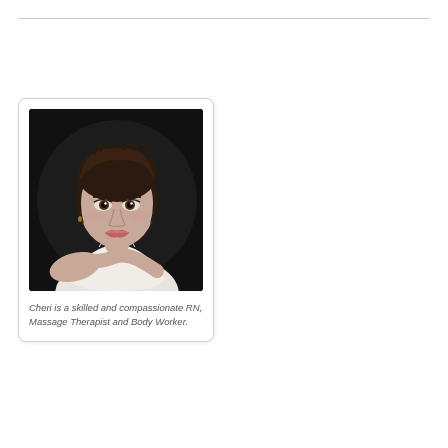[Figure (photo): Portrait photo of Cheri, a woman with short dark hair wearing a white sleeveless top, smiling at the camera against a dark background.]
Cheri is a skilled and compassionate RN, Massage Therapist and Body Worker.